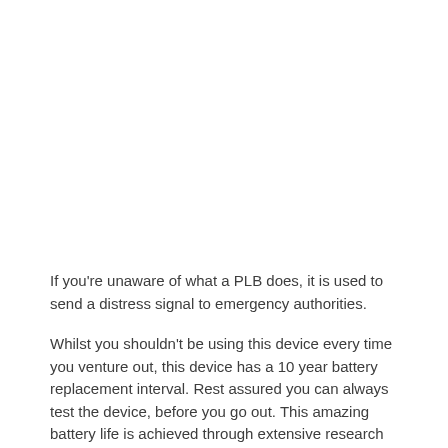If you're unaware of what a PLB does, it is used to send a distress signal to emergency authorities.
Whilst you shouldn't be using this device every time you venture out, this device has a 10 year battery replacement interval. Rest assured you can always test the device, before you go out. This amazing battery life is achieved through extensive research and development by the team at KTI.